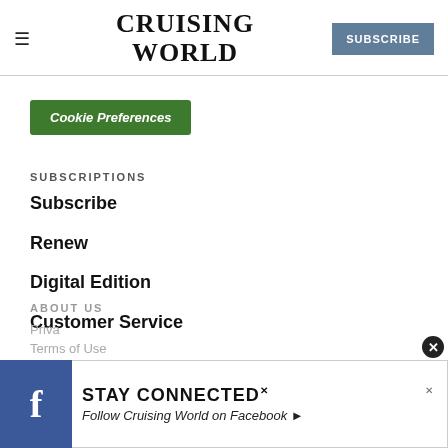CRUISING WORLD — SUBSCRIBE
Cookie Preferences
SUBSCRIPTIONS
Subscribe
Renew
Digital Edition
Customer Service
ABOUT US
Privacy
Terms of Use
[Figure (screenshot): Facebook ad banner: STAY CONNECTED — Follow Cruising World on Facebook]